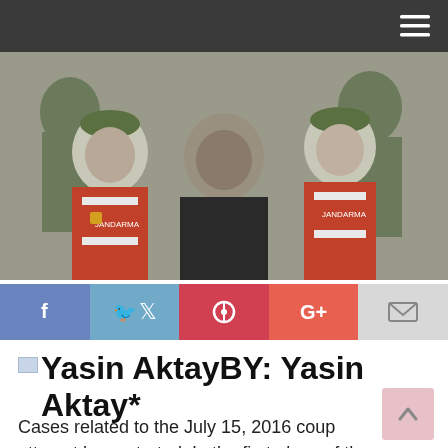[Figure (photo): Men in red vests labeled JANDARMA (military police) wearing green berets, escorting a man in a black jacket in a courthouse setting.]
[Figure (infographic): Social sharing buttons: Facebook, Twitter, Pinterest, Google+, Email]
Yasin AktayBY: Yasin Aktay*
Cases related to the July 15, 2016 coup attempt have started. In the first place of the